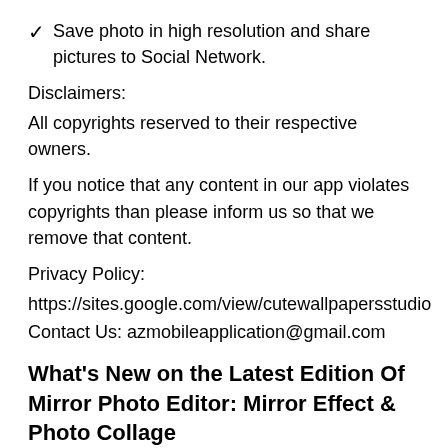✓ Save photo in high resolution and share pictures to Social Network.
Disclaimers:
All copyrights reserved to their respective owners.
If you notice that any content in our app violates copyrights than please inform us so that we remove that content.
Privacy Policy:
https://sites.google.com/view/cutewallpapersstudio
Contact Us: azmobileapplication@gmail.com
What's New on the Latest Edition Of Mirror Photo Editor: Mirror Effect & Photo Collage
Update new UI
Disclaimer
We are not claiming ownership of this app. Also, we are not